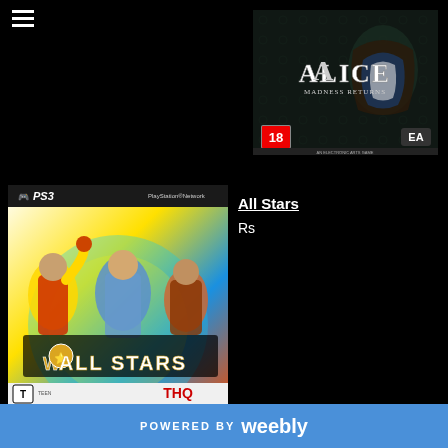[Figure (screenshot): Hamburger menu icon (three horizontal white lines) in top left corner]
[Figure (photo): Alice: Madness Returns game cover - dark fantasy art with the Alice title, rated 18, EA logo, PS3 game]
[Figure (photo): WWE All Stars PS3 game cover featuring wrestlers including Hulk Hogan and John Cena, rated T, published by THQ]
All Stars
Rs
POWERED BY weebly